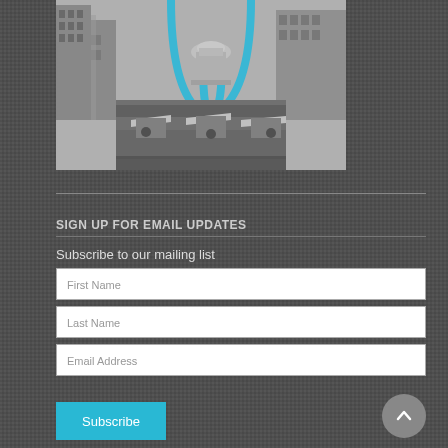[Figure (photo): Black and white aerial/street-level photograph of St. Louis Gateway Arch area with city buildings and a plaza. The top of the arch is visible in the upper center, painted in blue. Old courthouse dome is visible in the background.]
SIGN UP FOR EMAIL UPDATES
Subscribe to our mailing list
First Name
Last Name
Email Address
Subscribe